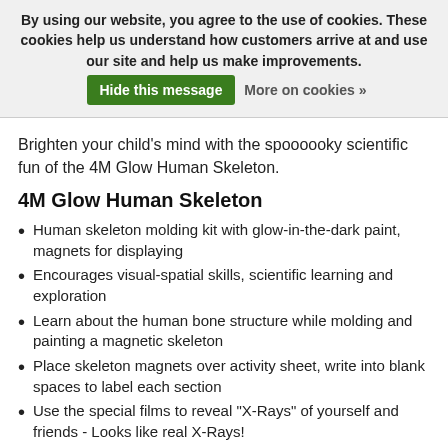By using our website, you agree to the use of cookies. These cookies help us understand how customers arrive at and use our site and help us make improvements. Hide this message  More on cookies »
Brighten your child's mind with the spoooooky scientific fun of the 4M Glow Human Skeleton.
4M Glow Human Skeleton
Human skeleton molding kit with glow-in-the-dark paint, magnets for displaying
Encourages visual-spatial skills, scientific learning and exploration
Learn about the human bone structure while molding and painting a magnetic skeleton
Place skeleton magnets over activity sheet, write into blank spaces to label each section
Use the special films to reveal "X-Rays" of yourself and friends - Looks like real X-Rays!
Includes 2 skeleton molding trays, 3 X-Ray films, skeleton wall chart, 2 bags of fine plaster powder